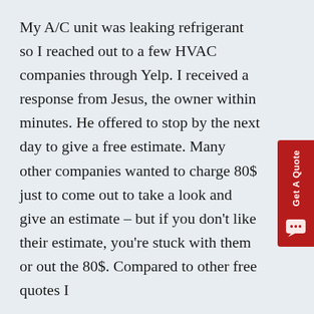My A/C unit was leaking refrigerant so I reached out to a few HVAC companies through Yelp. I received a response from Jesus, the owner within minutes. He offered to stop by the next day to give a free estimate. Many other companies wanted to charge 80$ just to come out to take a look and give an estimate – but if you don't like their estimate, you're stuck with them or out the 80$. Compared to other free quotes I